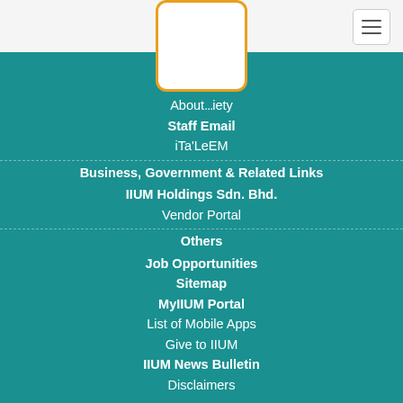[Figure (logo): IIUM logo box with orange border]
About... iety
Staff Email
iTa'LeEM
Business, Government & Related Links
IIUM Holdings Sdn. Bhd.
Vendor Portal
Others
Job Opportunities
Sitemap
MyIIUM Portal
List of Mobile Apps
Give to IIUM
IIUM News Bulletin
Disclaimers